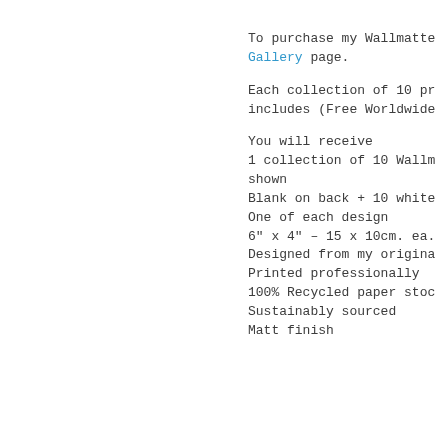To purchase my Wallmatte Gallery page.
Each collection of 10 pr includes (Free Worldwide
You will receive
1 collection of 10 Wallm shown
Blank on back + 10 white
One of each design
6" x 4" – 15 x 10cm. ea.
Designed from my origina
Printed professionally
100% Recycled paper stoc
Sustainably sourced
Matt finish